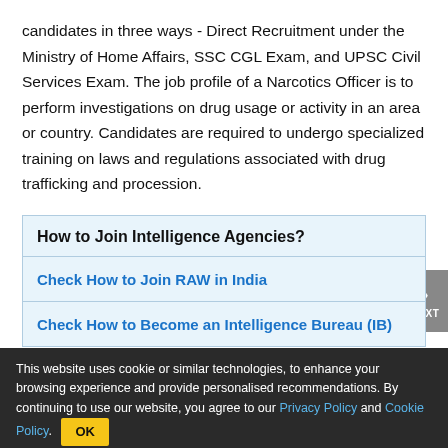candidates in three ways - Direct Recruitment under the Ministry of Home Affairs, SSC CGL Exam, and UPSC Civil Services Exam. The job profile of a Narcotics Officer is to perform investigations on drug usage or activity in an area or country. Candidates are required to undergo specialized training on laws and regulations associated with drug trafficking and procession.
| How to Join Intelligence Agencies? |
| --- |
| Check How to Join RAW in India |
| Check How to Become an Intelligence Bureau (IB) |
This website uses cookie or similar technologies, to enhance your browsing experience and provide personalised recommendations. By continuing to use our website, you agree to our Privacy Policy and Cookie Policy. OK